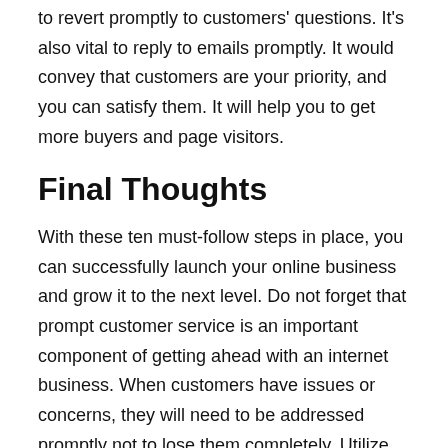to revert promptly to customers' questions. It's also vital to reply to emails promptly. It would convey that customers are your priority, and you can satisfy them. It will help you to get more buyers and page visitors.
Final Thoughts
With these ten must-follow steps in place, you can successfully launch your online business and grow it to the next level. Do not forget that prompt customer service is an important component of getting ahead with an internet business. When customers have issues or concerns, they will need to be addressed promptly not to lose them completely. Utilize social media sites for promotion, create quality pages on all platforms, pay attention to demographics when selecting products and services, take precautions against data security breaches, etc. These are